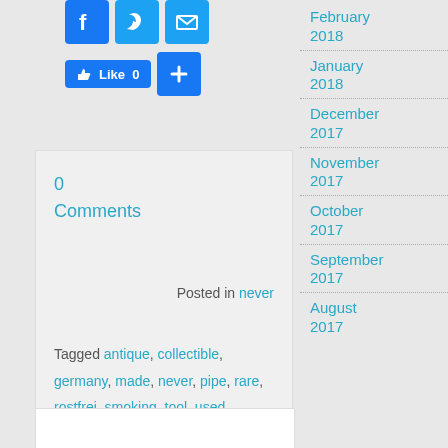[Figure (other): Social share buttons: Facebook, Twitter, Email icons, Like button with count 0, and a plus button]
0 Comments
Posted in never
Tagged antique, collectible, germany, made, never, pipe, rare, rostfrei, smoking, tool, used
February 2018
January 2018
December 2017
November 2017
October 2017
September 2017
August 2017